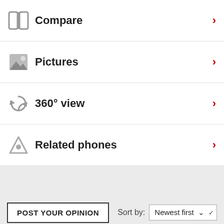Compare
Pictures
360° view
Related phones
POST YOUR OPINION
Sort by: Newest first
AnonD-7455   0gL   23 Aug 2013
Sorry, sounds like you got a defective 808, or at least one that needs a cleaning. There should be no smudge on the lens and the phone takes amazing pictures.